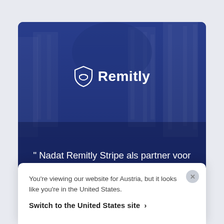[Figure (screenshot): Remitly website screenshot showing company logo on dark blue background with skyscraper imagery, and a Dutch-language testimonial quote beginning with 'Nadat Remitly Stripe als partner voor betalingen had toegevoegd, zagen we' overlaid by a popup notification]
You're viewing our website for Austria, but it looks like you're in the United States.
Switch to the United States site >